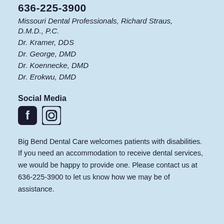636-225-3900
Missouri Dental Professionals, Richard Straus, D.M.D., P.C.
Dr. Kramer, DDS
Dr. George, DMD
Dr. Koennecke, DMD
Dr. Erokwu, DMD
Social Media
[Figure (illustration): Facebook and Instagram social media icons]
Big Bend Dental Care welcomes patients with disabilities. If you need an accommodation to receive dental services, we would be happy to provide one. Please contact us at 636-225-3900 to let us know how we may be of assistance.